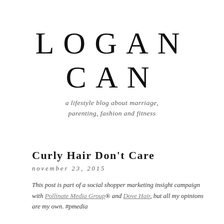LOGAN CAN
a lifestyle blog about marriage, parenting, fashion and fitness
Curly Hair Don't Care
november 23, 2015
This post is part of a social shopper marketing insight campaign with Pollinate Media Group® and Dove Hair, but all my opinions are my own. #pmedia